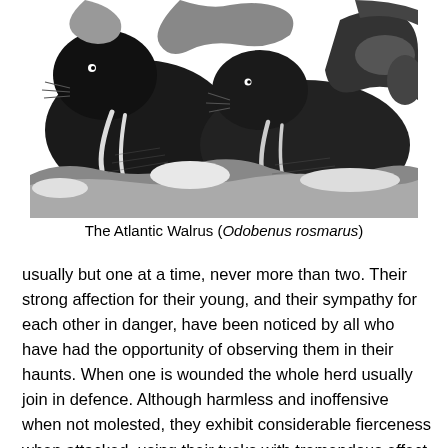[Figure (illustration): Black and white engraving/illustration of Atlantic Walruses resting on rocks or ice, showing their large bodies and tusks in a natural habitat scene.]
The Atlantic Walrus (Odobenus rosmarus)
usually but one at a time, never more than two. Their strong affection for their young, and their sympathy for each other in danger, have been noticed by all who have had the opportunity of observing them in their haunts. When one is wounded the whole herd usually join in defence. Although harmless and inoffensive when not molested, they exhibit considerable fierceness when attacked, using their tusks with tremendous effect either on human enemies who come into too close quarters or on polar bears, the only other adversary they can meet